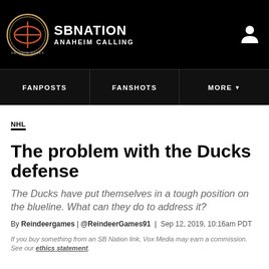SB Nation — Anaheim Calling
FANPOSTS | FANSHOTS | MORE
NHL
The problem with the Ducks defense
The Ducks have put themselves in a tough position on the blueline. What can they do to address it?
By Reindeergames | @ReindeerGames91 | Sep 12, 2019, 10:16am PDT
If you buy something from an SB Nation link, Vox Media may earn a commission. See our ethics statement.